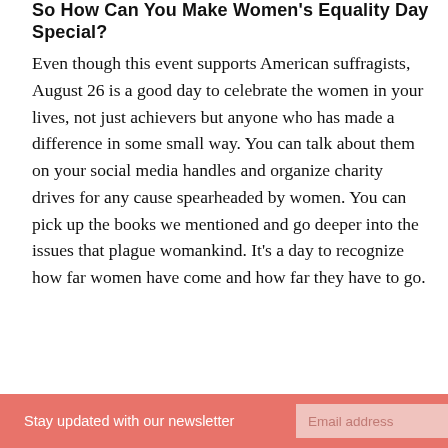So How Can You Make Women's Equality Day Special?
Even though this event supports American suffragists, August 26 is a good day to celebrate the women in your lives, not just achievers but anyone who has made a difference in some small way. You can talk about them on your social media handles and organize charity drives for any cause spearheaded by women. You can pick up the books we mentioned and go deeper into the issues that plague womankind. It's a day to recognize how far women have come and how far they have to go.
Stay updated with our newsletter  Email address